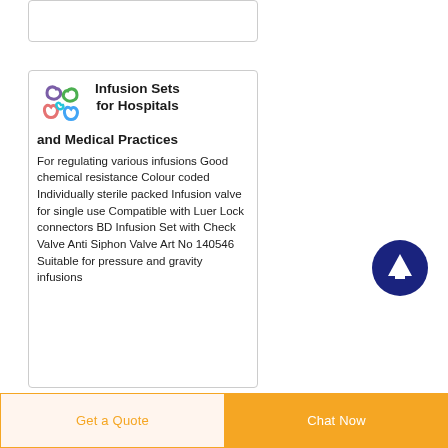[Figure (other): Partial product card at top, cropped]
[Figure (illustration): Colorful droplet/loop logo for infusion sets product listing]
Infusion Sets for Hospitals and Medical Practices
For regulating various infusions Good chemical resistance Colour coded Individually sterile packed Infusion valve for single use Compatible with Luer Lock connectors BD Infusion Set with Check Valve Anti Siphon Valve Art No 140546 Suitable for pressure and gravity infusions
[Figure (illustration): Dark blue circle with white upward arrow — scroll-to-top button]
Get a Quote   Chat Now